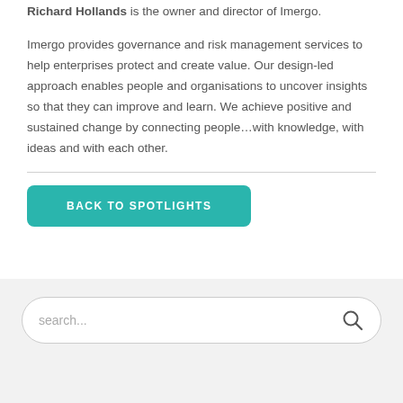Richard Hollands is the owner and director of Imergo.
Imergo provides governance and risk management services to help enterprises protect and create value. Our design-led approach enables people and organisations to uncover insights so that they can improve and learn. We achieve positive and sustained change by connecting people…with knowledge, with ideas and with each other.
BACK TO SPOTLIGHTS
search...